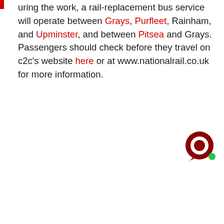During the work, a rail-replacement bus service will operate between Grays, Purfleet, Rainham, and Upminster, and between Pitsea and Grays. Passengers should check before they travel on c2c's website here or at www.nationalrail.co.uk for more information.
[Figure (illustration): Dark red circular chat bubble icon with a green notification dot in the bottom right corner]